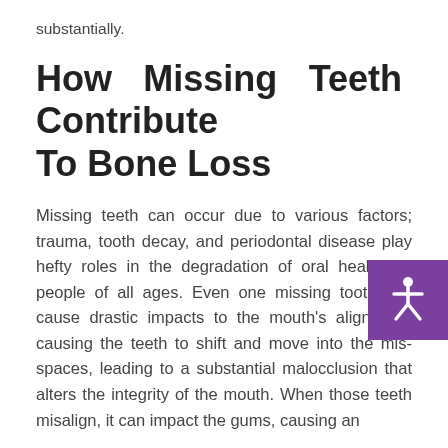substantially.
How Missing Teeth Contribute To Bone Loss
Missing teeth can occur due to various factors; trauma, tooth decay, and periodontal disease play hefty roles in the degradation of oral health for people of all ages. Even one missing tooth can cause drastic impacts to the mouth’s alignment, causing the teeth to shift and move into the missing spaces, leading to a substantial malocclusion that alters the integrity of the mouth. When those teeth misalign, it can impact the gums, causing an